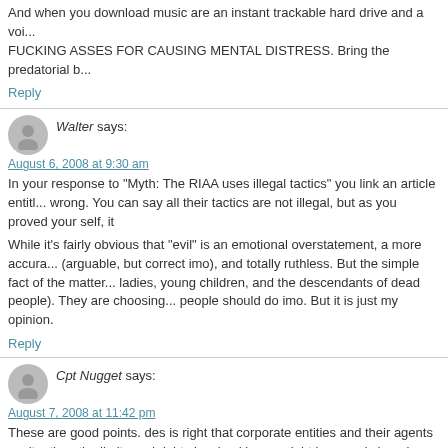And when you download music are an instant trackable hard drive and a voice... FUCKING ASSES FOR CAUSING MENTAL DISTRESS. Bring the predatorial b
Reply
Walter says:
August 6, 2008 at 9:30 am
In your response to "Myth: The RIAA uses illegal tactics" you link an article entitl... wrong. You can say all their tactics are not illegal, but as you proved your self, it
While it's fairly obvious that "evil" is an emotional overstatement, a more accur... (arguable, but correct imo), and totally ruthless. But the simple fact of the matter... ladies, young children, and the descendants of dead people). They are choosing... people should do imo. But it is just my opinion.
Reply
Cpt Nugget says:
August 7, 2008 at 11:42 pm
These are good points. des is right that corporate entities and their agents can't... then the limits and rights involved in copyright law need changing.
I'd like to add a couple more points: some of the frustration with the RIAA and its... remains common, CD sales are down and customer goodwill is at an all-time lo... requires them to sue their customers, when the long-term consequences of that
Another is that people often don't understand the origin and purpose of copyr...